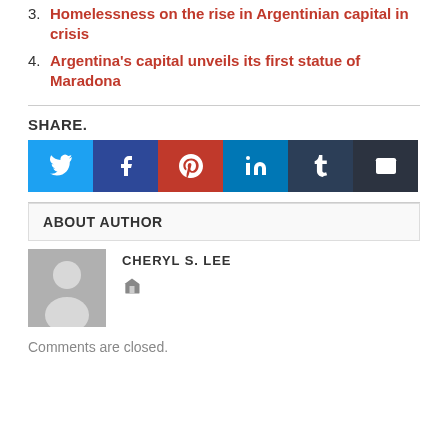3. Homelessness on the rise in Argentinian capital in crisis
4. Argentina's capital unveils its first statue of Maradona
SHARE.
[Figure (other): Social share buttons: Twitter, Facebook, Pinterest, LinkedIn, Tumblr, Email]
ABOUT AUTHOR
CHERYL S. LEE
[Figure (illustration): Generic user avatar silhouette on grey background]
Comments are closed.